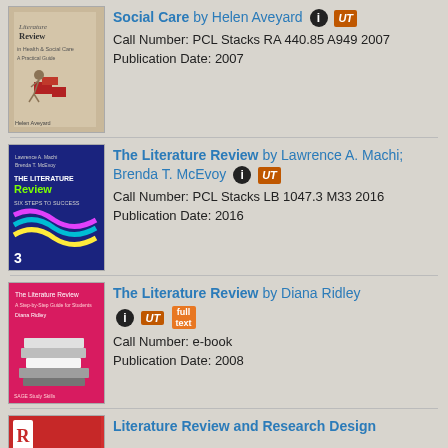[Figure (illustration): Book cover for a literature review book in health and social care by Helen Aveyard, showing a figure pushing red blocks on a grey/beige background]
Social Care by Helen Aveyard [info icon] [UT badge]
Call Number: PCL Stacks RA 440.85 A949 2007
Publication Date: 2007
[Figure (illustration): Book cover for The Literature Review by Lawrence A. Machi and Brenda T. McEvoy, edition 3, with colorful wave design on dark background]
The Literature Review by Lawrence A. Machi; Brenda T. McEvoy [info icon] [UT badge]
Call Number: PCL Stacks LB 1047.3 M33 2016
Publication Date: 2016
[Figure (illustration): Book cover for The Literature Review by Diana Ridley, pink cover with stack of books image]
The Literature Review by Diana Ridley [info icon] [UT badge] [full text badge]
Call Number: e-book
Publication Date: 2008
[Figure (illustration): Book cover for Literature Review and Research Design, red cover with Routledge R logo]
Literature Review and Research Design